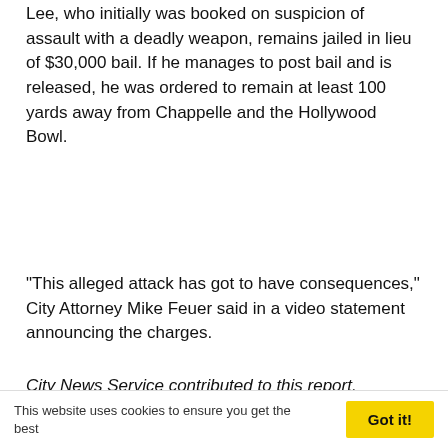Lee, who initially was booked on suspicion of assault with a deadly weapon, remains jailed in lieu of $30,000 bail. If he manages to post bail and is released, he was ordered to remain at least 100 yards away from Chappelle and the Hollywood Bowl.
"This alleged attack has got to have consequences," City Attorney Mike Feuer said in a video statement announcing the charges.
Feuer added, "My office takes protecting public safety extremely seriously and we are going to vigorously prosecute this case."
City News Service contributed to this report.
This website uses cookies to ensure you get the best